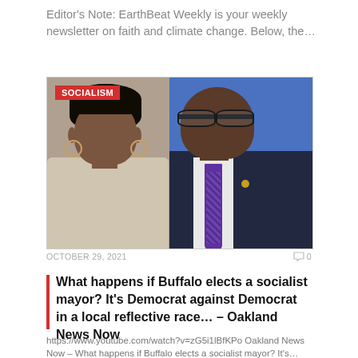Editor’s Note: EarthBeat Weekly is your weekly newsletter on faith and climate change. Below, the…
[Figure (photo): Side-by-side photo of two people. Left: a Black woman with natural upswept hair and hoop earrings wearing a light top, seated. Right: a Black man wearing glasses, a dark pinstripe suit, white shirt, and colorful tie, against a blue background. A red 'SOCIALISM' badge overlays the top-left corner.]
OCTOBER 29, 2021
💬 0
What happens if Buffalo elects a socialist mayor? It’s Democrat against Democrat in a local reflective race… – Oakland News Now
https://www.youtube.com/watch?v=zG5i1lBfKPo Oakland News Now – What happens if Buffalo elects a socialist mayor? It’s…